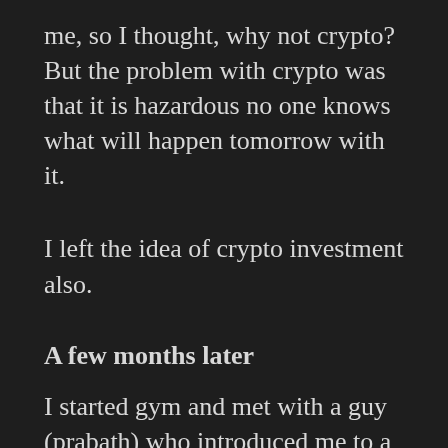me, so I thought, why not crypto? But the problem with crypto was that it is hazardous no one knows what will happen tomorrow with it.
I left the idea of crypto investment also.
A few months later
I started gym and met with a guy (prabath) who introduced me to a forsage.io where I can earn a good amount of money.
Prabath is a doctor, and he uses forsage as a passive income. He probably earns 50 to 80